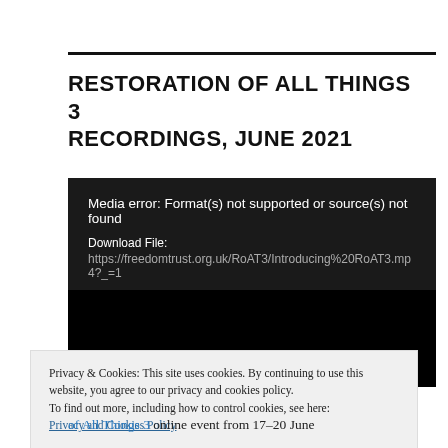RESTORATION OF ALL THINGS 3 RECORDINGS, JUNE 2021
[Figure (screenshot): Video player showing media error: Format(s) not supported or source(s) not found. Download File: https://freedomtrust.org.uk/RoAT3/Introducing%20RoAT3.mp4?_=1]
Privacy & Cookies: This site uses cookies. By continuing to use this website, you agree to our privacy and cookies policy. To find out more, including how to control cookies, see here: Privacy and Cookies Policy
of All Things 3 online event from 17–20 June